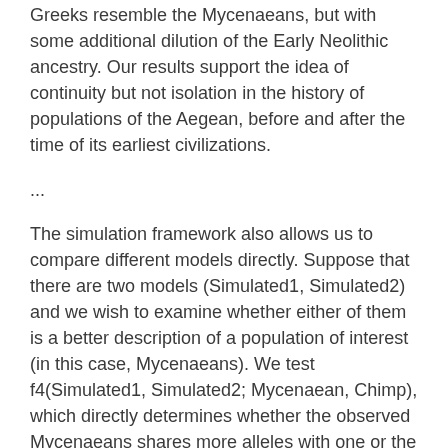Greeks resemble the Mycenaeans, but with some additional dilution of the Early Neolithic ancestry. Our results support the idea of continuity but not isolation in the history of populations of the Aegean, before and after the time of its earliest civilizations.
...
The simulation framework also allows us to compare different models directly. Suppose that there are two models (Simulated1, Simulated2) and we wish to examine whether either of them is a better description of a population of interest (in this case, Mycenaeans). We test f4(Simulated1, Simulated2; Mycenaean, Chimp), which directly determines whether the observed Mycenaeans shares more alleles with one or the other of the two models. When we apply this intuition to the best models for the Mycenaeans (Extended Data Fig. 6), we observe that none of them clearly outperforms the others as there are no statistics with |Z|>2 (Table S2.28). However,